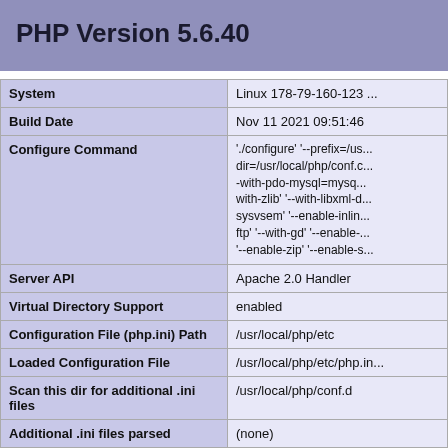PHP Version 5.6.40
|  |  |
| --- | --- |
| System | Linux 178-79-160-123 ... |
| Build Date | Nov 11 2021 09:51:46 |
| Configure Command | './configure' '--prefix=/us... dir=/usr/local/php/conf.d... -with-pdo-mysql=mysql... with-zlib' '--with-libxml-d... sysvsem' '--enable-inlin... ftp' '--with-gd' '--enable-... '--enable-zip' '--enable-s... |
| Server API | Apache 2.0 Handler |
| Virtual Directory Support | enabled |
| Configuration File (php.ini) Path | /usr/local/php/etc |
| Loaded Configuration File | /usr/local/php/etc/php.in... |
| Scan this dir for additional .ini files | /usr/local/php/conf.d |
| Additional .ini files parsed | (none) |
| PHP API | 20131106 |
| PHP Extension | 20131226 |